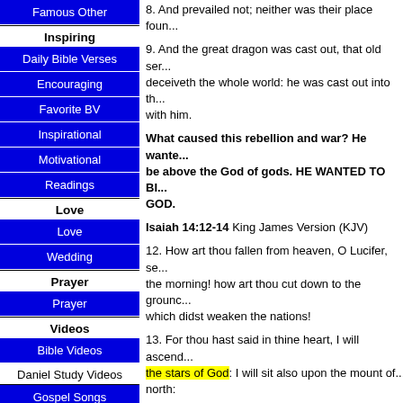Famous Other
Inspiring
Daily Bible Verses
Encouraging
Favorite BV
Inspirational
Motivational
Readings
Love
Love
Wedding
Prayer
Prayer
Videos
Bible Videos
Daniel Study Videos
Gospel Songs
Other
8. And prevailed not; neither was their place foun...
9. And the great dragon was cast out, that old ser... deceiveth the whole world: he was cast out into th... with him.
What caused this rebellion and war? He wante... be above the God of gods. HE WANTED TO BI... GOD.
Isaiah 14:12-14 King James Version (KJV)
12. How art thou fallen from heaven, O Lucifer, se... the morning! how art thou cut down to the grounc... which didst weaken the nations!
13. For thou hast said in thine heart, I will ascend... the stars of God: I will sit also upon the mount of... north:
14. I will ascend above the heights of the clouds;